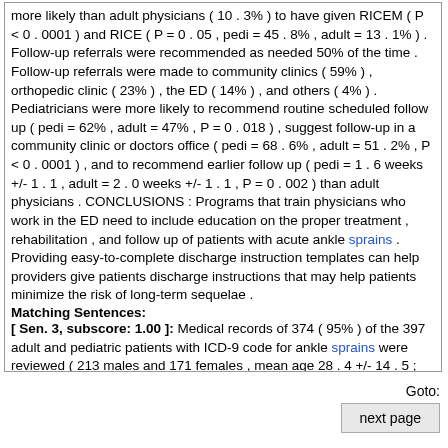more likely than adult physicians ( 10 . 3% ) to have given RICEM ( P < 0 . 0001 ) and RICE ( P = 0 . 05 , pedi = 45 . 8% , adult = 13 . 1% ) . Follow-up referrals were recommended as needed 50% of the time . Follow-up referrals were made to community clinics ( 59% ) , orthopedic clinic ( 23% ) , the ED ( 14% ) , and others ( 4% ) . Pediatricians were more likely to recommend routine scheduled follow up ( pedi = 62% , adult = 47% , P = 0 . 018 ) , suggest follow-up in a community clinic or doctors office ( pedi = 68 . 6% , adult = 51 . 2% , P < 0 . 0001 ) , and to recommend earlier follow up ( pedi = 1 . 6 weeks +/- 1 . 1 , adult = 2 . 0 weeks +/- 1 . 1 , P = 0 . 002 ) than adult physicians . CONCLUSIONS : Programs that train physicians who work in the ED need to include education on the proper treatment , rehabilitation , and follow up of patients with acute ankle sprains . Providing easy-to-complete discharge instruction templates can help providers give patients discharge instructions that may help patients minimize the risk of long-term sequelae .
Matching Sentences:
[ Sen. 3, subscore: 1.00 ]: Medical records of 374 ( 95% ) of the 397 adult and pediatric patients with ICD-9 code for ankle sprains were reviewed ( 213 males and 171 females , mean age 28 . 4 +/- 14 . 5 ; 291 adults , 93 pediatric ) .
[ Sen. 10, subscore: 1.00 ]: CONCLUSIONS : Programs that train physicians who work in the ED need to include education on the proper treatment , rehabilitation , and follow up of patients with acute ankle sprains .